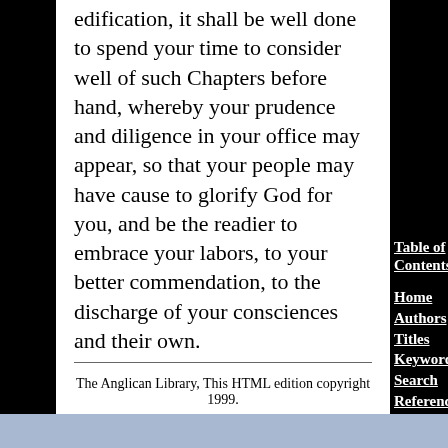edification, it shall be well done to spend your time to consider well of such Chapters before hand, whereby your prudence and diligence in your office may appear, so that your people may have cause to glorify God for you, and be the readier to embrace your labors, to your better commendation, to the discharge of your consciences and their own.
The Anglican Library, This HTML edition copyright 1999.
Table of Contents
Home
Authors
Titles
Keyword
Search
Reference